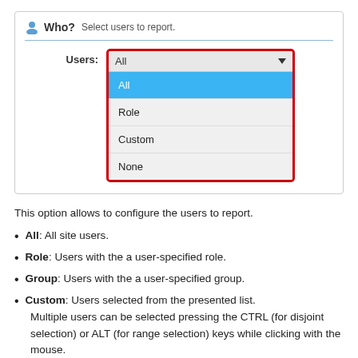[Figure (screenshot): UI screenshot showing a 'Who? Select users to report.' form field with a Users dropdown open, displaying options: All (selected/highlighted in blue), Role, Custom, None. The dropdown is outlined with a red border.]
This option allows to configure the users to report.
All: All site users.
Role: Users with the a user-specified role.
Group: Users with the a user-specified group.
Custom: Users selected from the presented list. Multiple users can be selected pressing the CTRL (for disjoint selection) or ALT (for range selection) keys while clicking with the mouse.